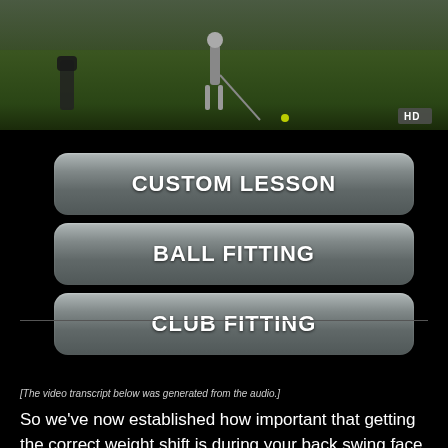[Figure (screenshot): Golf instruction video thumbnail showing a golfer on a green fairway with a golf bag nearby, HD badge in bottom-right corner]
CUSTOM LESSON
BALL FITTING
CLUB FITTING
[Figure (other): Blue button labeled VIEW ARTICLE]
[The video transcript below was generated from the audio.]
So we've now established how important that getting the correct weight shift is during your back swing face, it's also important we establish how the set up